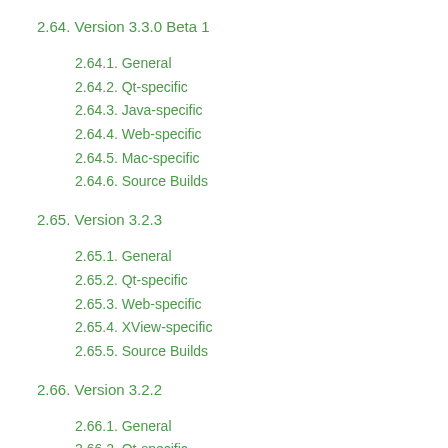2.64. Version 3.3.0 Beta 1
2.64.1. General
2.64.2. Qt-specific
2.64.3. Java-specific
2.64.4. Web-specific
2.64.5. Mac-specific
2.64.6. Source Builds
2.65. Version 3.2.3
2.65.1. General
2.65.2. Qt-specific
2.65.3. Web-specific
2.65.4. XView-specific
2.65.5. Source Builds
2.66. Version 3.2.2
2.66.1. General
2.66.2. Qt-specific
2.66.3. Web-specific
2.67. Squish for macOS, Beta 1